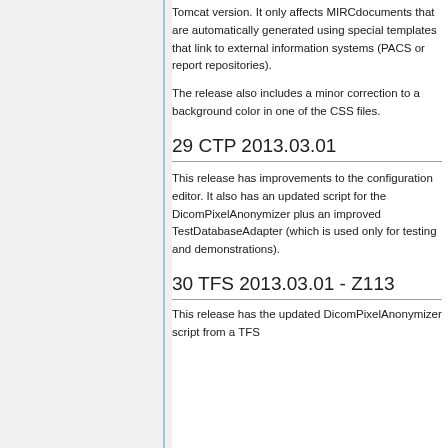Tomcat version. It only affects MIRCdocuments that are automatically generated using special templates that link to external information systems (PACS or report repositories).
The release also includes a minor correction to a background color in one of the CSS files.
29 CTP 2013.03.01
This release has improvements to the configuration editor. It also has an updated script for the DicomPixelAnonymizer plus an improved TestDatabaseAdapter (which is used only for testing and demonstrations).
30 TFS 2013.03.01 - Z113
This release has the updated DicomPixelAnonymizer script for a TFS...